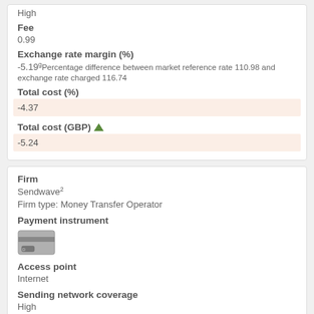High
Fee
0.99
Exchange rate margin (%)
-5.19 Percentage difference between market reference rate 110.98 and exchange rate charged 116.74
Total cost (%)
-4.37
Total cost (GBP)
-5.24
Firm
Sendwave
Firm type: Money Transfer Operator
Payment instrument
[Figure (illustration): Credit/debit card icon]
Access point
Internet
Sending network coverage
High